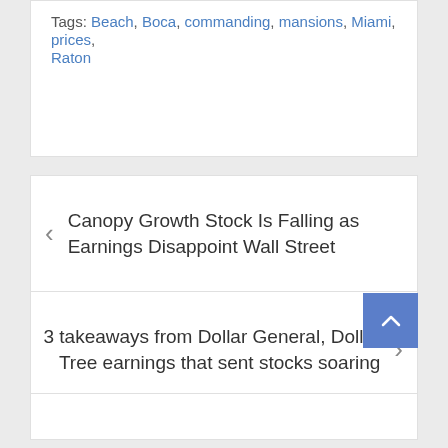Tags: Beach, Boca, commanding, mansions, Miami, prices, Raton
< Canopy Growth Stock Is Falling as Earnings Disappoint Wall Street
3 takeaways from Dollar General, Dollar Tree earnings that sent stocks soaring >